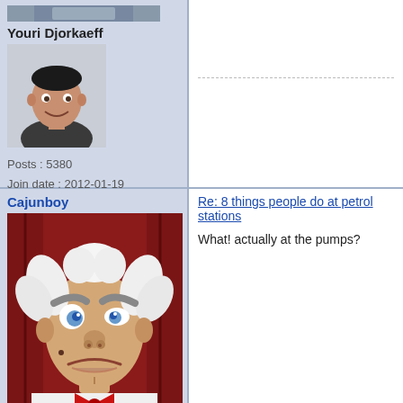[Figure (photo): Top portion of a user avatar photo (cropped at top)]
Youri Djorkaeff
[Figure (photo): Avatar photo of Youri Djorkaeff, a man smiling]
Posts : 5380
Join date : 2012-01-19
Location : East Sussex
Cajunboy
Re: 8 things people do at petrol stations
What! actually at the pumps?
[Figure (photo): Avatar image of Cajunboy showing a grumpy old man puppet/ventriloquist dummy with white hair and red bow tie]
El Hadji Diouf